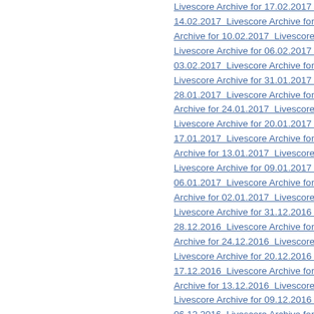Livescore Archive for 17.02.2017  Livescore Archive fo...
14.02.2017  Livescore Archive for 13.02.201...
Archive for 10.02.2017  Livescore Archive fo...
Livescore Archive for 06.02.2017  Livescore...
03.02.2017  Livescore Archive for 02.02.2017...
Livescore Archive for 31.01.2017  Livescore...
28.01.2017  Livescore Archive for 27.01.201...
Archive for 24.01.2017  Livescore Archive fo...
Livescore Archive for 20.01.2017  Livescore...
17.01.2017  Livescore Archive for 16.01.201...
Archive for 13.01.2017  Livescore Archive fo...
Livescore Archive for 09.01.2017  Livescore...
06.01.2017  Livescore Archive for 05.01.201...
Archive for 02.01.2017  Livescore Archive fo...
Livescore Archive for 31.12.2016  Livescore...
28.12.2016  Livescore Archive for 27.12.201...
Archive for 24.12.2016  Livescore Archive fo...
Livescore Archive for 20.12.2016  Livescore...
17.12.2016  Livescore Archive for 16.12.201...
Archive for 13.12.2016  Livescore Archive fo...
Livescore Archive for 09.12.2016  Livescore...
06.12.2016  Livescore Archive for 05.12.201...
Archive for 02.12.2016  Livescore Archive fo...
Livescore Archive for 30.11.2016  Livescore...
27.11.2016  Livescore Archive for 26.11.20...